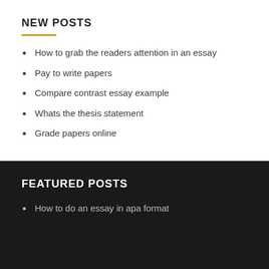NEW POSTS
How to grab the readers attention in an essay
Pay to write papers
Compare contrast essay example
Whats the thesis statement
Grade papers online
FEATURED POSTS
How to do an essay in apa format